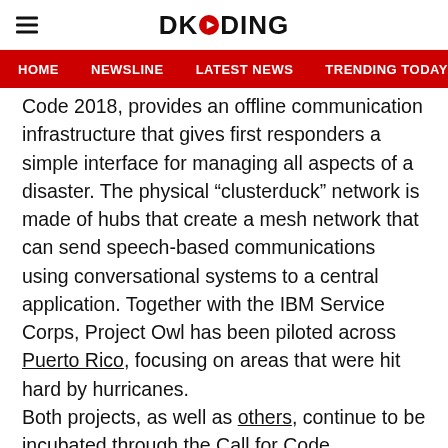DKODING
HOME  NEWSLINE  LATEST NEWS  TRENDING TODAY  ENT
Code 2018, provides an offline communication infrastructure that gives first responders a simple interface for managing all aspects of a disaster. The physical “clusterduck” network is made of hubs that create a mesh network that can send speech-based communications using conversational systems to a central application. Together with the IBM Service Corps, Project Owl has been piloted across Puerto Rico, focusing on areas that were hit hard by hurricanes.
Both projects, as well as others, continue to be incubated through the Call for Code